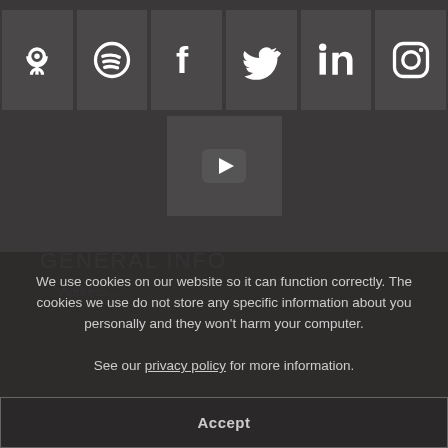[Figure (other): Row of social media icons: Podcast, Spotify, Facebook, Twitter, LinkedIn, Instagram on dark square backgrounds]
[Figure (other): YouTube icon on dark square background]
GENERAL INFO
We use cookies on our website so it can function correctly. The cookies we use do not store any specific information about you personally and they won't harm your computer. See our privacy policy for more information.
Accept